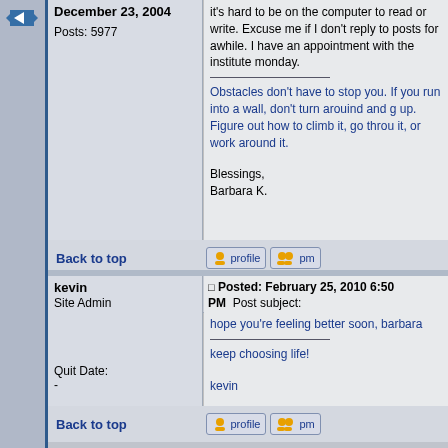December 23, 2004
Posts: 5977
it's hard to be on the computer to read or write. Excuse me if I don't reply to posts for awhile. I have an appointment with the institute monday.

Obstacles don't have to stop you. If you run into a wall, don't turn arouind and give up. Figure out how to climb it, go through it, or work around it.

Blessings,
Barbara K.
Back to top
kevin
Site Admin
Posted: February 25, 2010 6:50 PM   Post subject:
hope you're feeling better soon, barbara

keep choosing life!

kevin

the zen of the quit
Quit Date:
-
Posts: 9538
Location: cincinnati, oh
Back to top